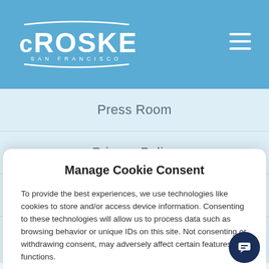McRoskey San Francisco
Press Room
Privacy Policy
Exchanges
Manage Cookie Consent
To provide the best experiences, we use technologies like cookies to store and/or access device information. Consenting to these technologies will allow us to process data such as browsing behavior or unique IDs on this site. Not consenting or withdrawing consent, may adversely affect certain features and functions.
Accept
Cookie Policy   Privacy Policy